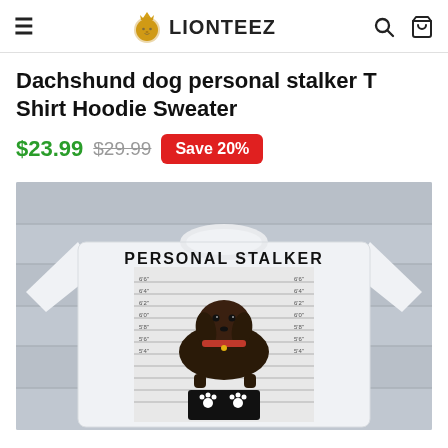LIONTEEZ
Dachshund dog personal stalker T Shirt Hoodie Sweater
$23.99  $29.99  Save 20%
[Figure (photo): White t-shirt displayed on a wooden background. The shirt features a dachshund dog in a police mugshot lineup with text 'PERSONAL STALKER' and paw prints on a black sign.]